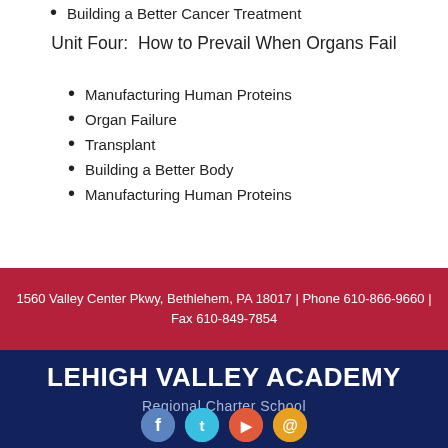Building a Better Cancer Treatment
Unit Four:  How to Prevail When Organs Fail
Manufacturing Human Proteins
Organ Failure
Transplant
Building a Better Body
Manufacturing Human Proteins
1560 Valley Center Pkwy, Bethlehem, PA 18017 | Phone 610-866-9660 | Fax 610-849-7854
LEHIGH VALLEY ACADEMY
Regional Charter School